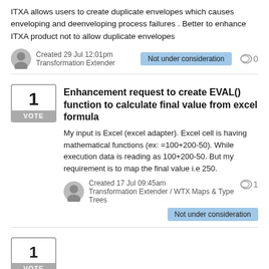ITXA allows users to create duplicate envelopes which causes enveloping and deenveloping process failures . Better to enhance ITXA product not to allow duplicate envelopes
Created 29 Jul 12:01pm
Transformation Extender
Not under consideration
0
Enhancement request to create EVAL() function to calculate final value from excel formula
My input is Excel (excel adapter). Excel cell is having mathematical functions (ex: =100+200-50). While execution data is reading as 100+200-50. But my requirement is to map the final value i.e 250.
Created 17 Jul 09:45am
Transformation Extender / WTX Maps & Type Trees
1
Not under consideration